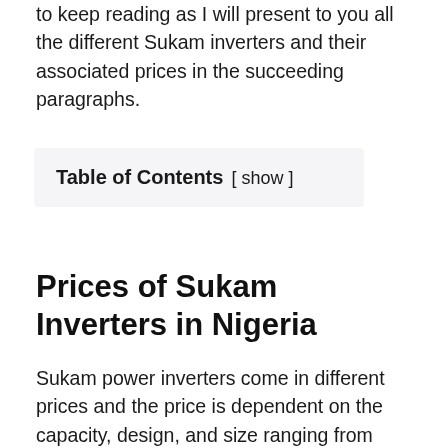to keep reading as I will present to you all the different Sukam inverters and their associated prices in the succeeding paragraphs.
Table of Contents [ show ]
Prices of Sukam Inverters in Nigeria
Sukam power inverters come in different prices and the price is dependent on the capacity, design, and size ranging from 600VA (Volt-ampere) to 50KVA (Kilovolt-